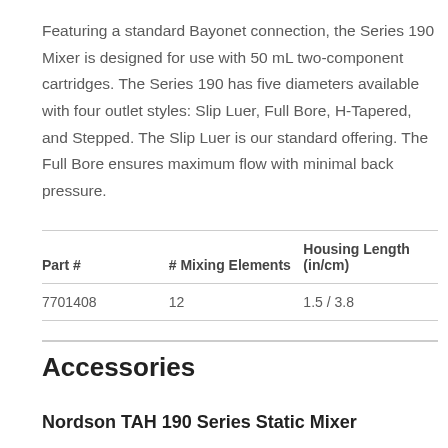Featuring a standard Bayonet connection, the Series 190 Mixer is designed for use with 50 mL two-component cartridges. The Series 190 has five diameters available with four outlet styles: Slip Luer, Full Bore, H-Tapered, and Stepped. The Slip Luer is our standard offering. The Full Bore ensures maximum flow with minimal back pressure.
| Part # | # Mixing Elements | Housing Length (in/cm) |
| --- | --- | --- |
| 7701408 | 12 | 1.5 / 3.8 |
Accessories
Nordson TAH 190 Series Static Mixer